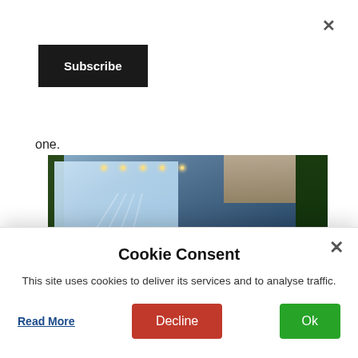[Figure (other): Close (×) button at top right of page]
[Figure (other): Subscribe button — black rectangle with white bold text 'Subscribe']
one.
[Figure (photo): Outdoor restaurant/bar scene at night with people dining at long tables, a large projection screen showing what appears to be an athletics track, pergola ceiling with string lights, and lush green foliage on the walls.]
[Figure (screenshot): Cookie consent modal overlay with title 'Cookie Consent', body text 'This site uses cookies to deliver its services and to analyse traffic.', a 'Read More' link, a red 'Decline' button, a green 'Ok' button, and a close × button.]